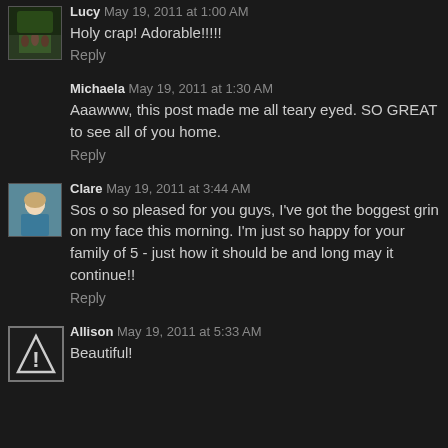Lucy May 19, 2011 at 1:00 AM
Holy crap! Adorable!!!!!
Reply
Michaela May 19, 2011 at 1:30 AM
Aaawww, this post made me all teary eyed. SO GREAT to see all of you home.
Reply
Clare May 19, 2011 at 3:44 AM
Sos o so pleased for you guys, I've got the boggest grin on my face this morning. I'm just so happy for your family of 5 - just how it should be and long may it continue!!
Reply
Allison May 19, 2011 at 5:33 AM
Beautiful!